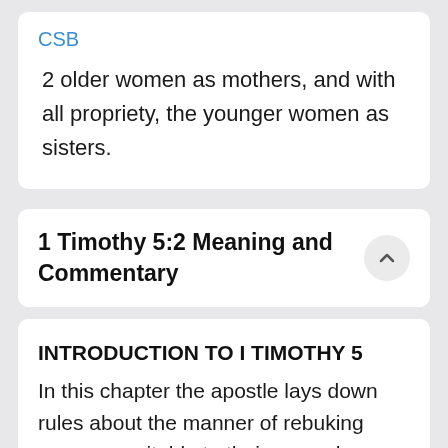CSB
2 older women as mothers, and with all propriety, the younger women as sisters.
1 Timothy 5:2 Meaning and Commentary
INTRODUCTION TO I TIMOTHY 5
In this chapter the apostle lays down rules about the manner of rebuking persons, suitable to their several ages; gives directions concerning widows, both old